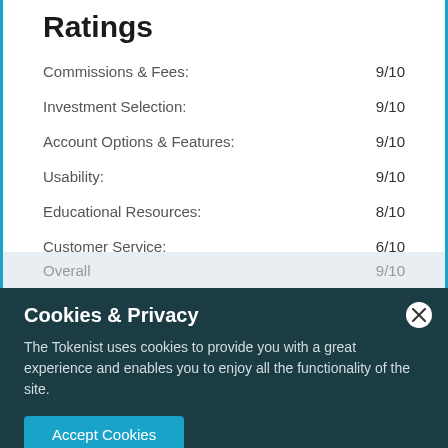Ratings
| Category | Score |
| --- | --- |
| Commissions & Fees: | 9/10 |
| Investment Selection: | 9/10 |
| Account Options & Features: | 9/10 |
| Usability: | 9/10 |
| Educational Resources: | 8/10 |
| Customer Service: | 6/10 |
| Overall | 9/10 |
Cookies & Privacy
The Tokenist uses cookies to provide you with a great experience and enables you to enjoy all the functionality of the site.
Accept Cookies